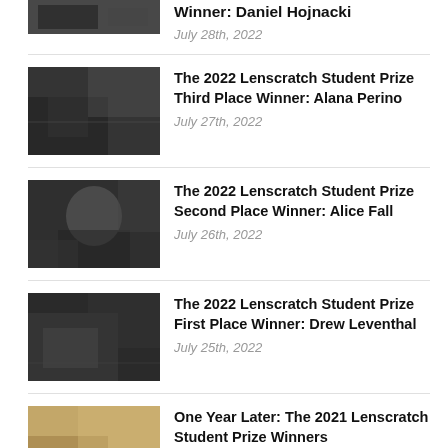Winner: Daniel Hojnacki
July 28th, 2022
[Figure (photo): Black and white photograph, partially visible at top of page]
The 2022 Lenscratch Student Prize Third Place Winner: Alana Perino
July 27th, 2022
[Figure (photo): Black and white photograph showing a staircase interior]
The 2022 Lenscratch Student Prize Second Place Winner: Alice Fall
July 26th, 2022
[Figure (photo): Black and white portrait photograph of a person]
The 2022 Lenscratch Student Prize First Place Winner: Drew Leventhal
July 25th, 2022
[Figure (photo): Black and white photograph with dark tones]
One Year Later: The 2021 Lenscratch Student Prize Winners
July 24th, 2022
[Figure (photo): Color photograph with Lenscratch branding badge and gold 50 anniversary circle badge]